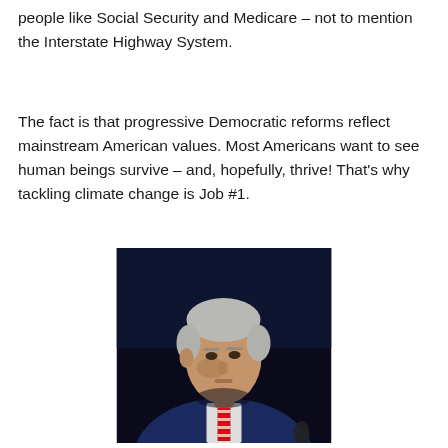people like Social Security and Medicare – not to mention the Interstate Highway System.
The fact is that progressive Democratic reforms reflect mainstream American values. Most Americans want to see human beings survive – and, hopefully, thrive! That's why tackling climate change is Job #1.
[Figure (photo): A man in a dark suit with a striped red and white tie, photographed from the shoulders up against a dark background, head slightly bowed, silver-haired.]